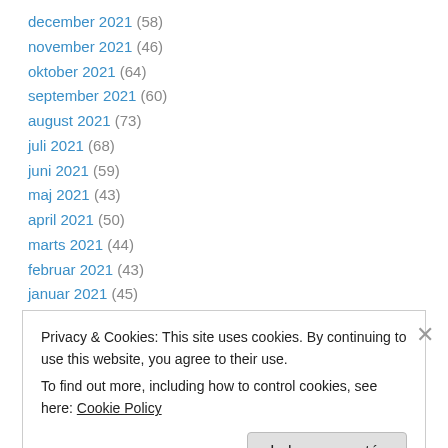december 2021 (58)
november 2021 (46)
oktober 2021 (64)
september 2021 (60)
august 2021 (73)
juli 2021 (68)
juni 2021 (59)
maj 2021 (43)
april 2021 (50)
marts 2021 (44)
februar 2021 (43)
januar 2021 (45)
december 2020 (42)
Privacy & Cookies: This site uses cookies. By continuing to use this website, you agree to their use. To find out more, including how to control cookies, see here: Cookie Policy
Luk og acceptér